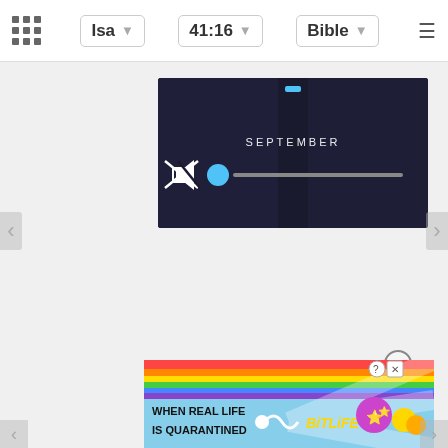[Figure (screenshot): Mobile app navigation bar with grid icon, Isa dropdown (41:16), Bible dropdown, and hamburger menu]
[Figure (screenshot): Video player thumbnail showing 'SEPTEMBER' text on dark background with mute icon and progress bar with blue circle thumb]
[Figure (screenshot): Left navigation arrow button on side of page]
[Figure (screenshot): Right navigation arrow button on side of page]
[Figure (screenshot): Close (X) button circle above ad banner]
[Figure (screenshot): BitLife advertisement banner with rainbow background, 'WHEN REAL LIFE IS QUARANTINED' text, sperm graphic, BitLife logo, star-eyes emoji, coins emoji, help and close buttons]